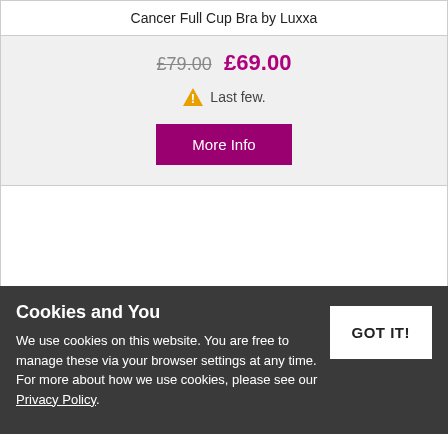Cancer Full Cup Bra by Luxxa
£79.00  £69.00
⚠ Last few.
More Info
Cookies and You
We use cookies on this website. You are free to manage these via your browser settings at any time. For more about how we use cookies, please see our Privacy Policy.
GOT IT!